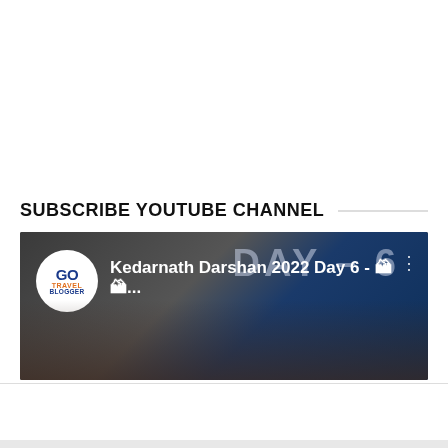SUBSCRIBE YOUTUBE CHANNEL
[Figure (screenshot): YouTube video thumbnail showing 'Kedarnath Darshan 2022 Day 6' with Go Travel Blogger logo, people in the background, and 'DAY - 6' text overlay]
[Figure (screenshot): Advertisement for Frontgate SALES: '20% off sitewide plus free shipping from August 19-22', frontgate.com, with outdoor furniture image and play button]